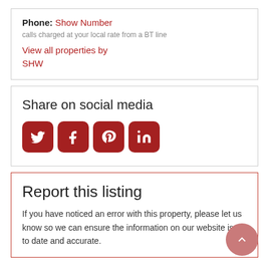Phone: Show Number
calls charged at your local rate from a BT line
View all properties by SHW
Share on social media
[Figure (infographic): Four social media icons: Twitter, Facebook, Pinterest, LinkedIn — dark red rounded square buttons with white icons]
Report this listing
If you have noticed an error with this property, please let us know so we can ensure the information on our website is up to date and accurate.